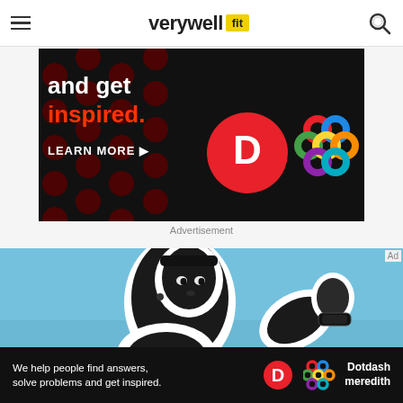verywell fit
[Figure (illustration): Dark advertisement banner with red polka dot background, white bold text 'and get inspired.' with 'inspired' in red/orange, a LEARN MORE button with arrow, a red circle with D logo, and a colorful Dotdash Meredith lattice logo]
Advertisement
[Figure (photo): Close-up photo of a Black female athlete wearing a dark headband and fitness tracker/smartwatch on her wrist, raised in front of her, against a blue sky background]
[Figure (illustration): Bottom advertisement bar: 'We help people find answers, solve problems and get inspired.' with Dotdash Meredith logo]